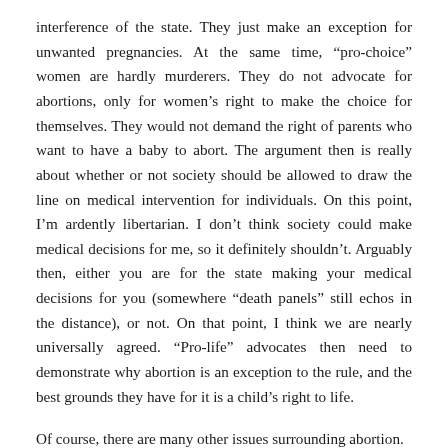interference of the state. They just make an exception for unwanted pregnancies. At the same time, “pro-choice” women are hardly murderers. They do not advocate for abortions, only for women’s right to make the choice for themselves. They would not demand the right of parents who want to have a baby to abort. The argument then is really about whether or not society should be allowed to draw the line on medical intervention for individuals. On this point, I’m ardently libertarian. I don’t think society could make medical decisions for me, so it definitely shouldn’t. Arguably then, either you are for the state making your medical decisions for you (somewhere “death panels” still echos in the distance), or not. On that point, I think we are nearly universally agreed. “Pro-life” advocates then need to demonstrate why abortion is an exception to the rule, and the best grounds they have for it is a child’s right to life.
Of course, there are many other issues surrounding abortion.